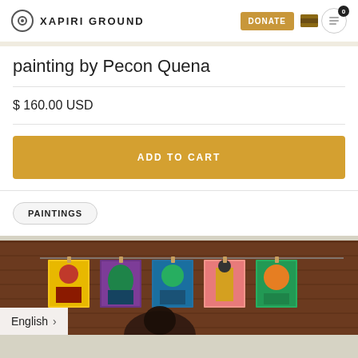XAPIRI GROUND
painting by Pecon Quena
$ 160.00 USD
ADD TO CART
PAINTINGS
[Figure (photo): Colorful paintings hanging on a clothesline in front of a wooden wall background, with a person partially visible in the foreground]
English >